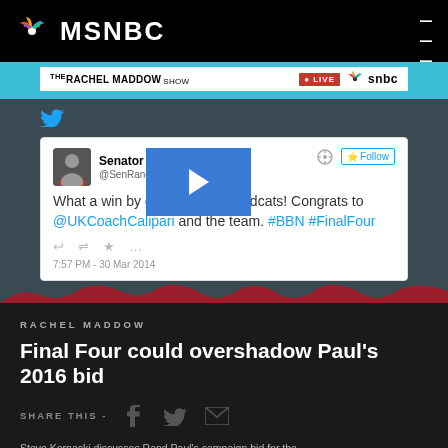MSNBC
[Figure (screenshot): MSNBC website screenshot showing The Rachel Maddow Show live banner, a tweet from Senator Rand Paul about Kentucky Wildcats Final Four, with a video overlay, and an article headline below]
THE RACHEL MADDOW Show | LIVE | snbc
Senator Rand Paul @SenRandPaul | Follow
What a win by our Kentucky Wildcats! Congrats to @UKCoachCalipari and the team. #BBN #FinalFour
7:57 PM - 30 Mar 2014
RACHEL MADDOW
Final Four could overshadow Paul's 2016 bid
SHARE THIS -
Steve Kornacki discusses Rand Paul's campaign bid for the...